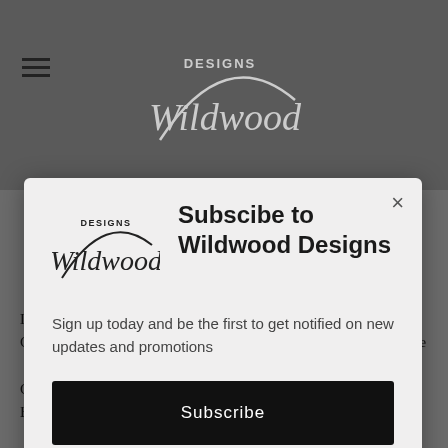[Figure (logo): Wildwood Designs logo in background header area]
[Figure (logo): Wildwood Designs logo inside modal popup, small version with cursive Wildwood text and DESIGNS above]
Subscibe to Wildwood Designs
Sign up today and be the first to get notified on new updates and promotions
Subscribe
Laurel Furniture Australia   Camphor Laurel Furniture Sydney   Camphor Laurel Hardwood   Camphor Laurel Hardwood Furniture   Camphor Laurel Hardwood Sydney   Camphor Laurel Sydney   Carving   Chairs   Chairs Australia   Chairs Sydney   Coastal Home